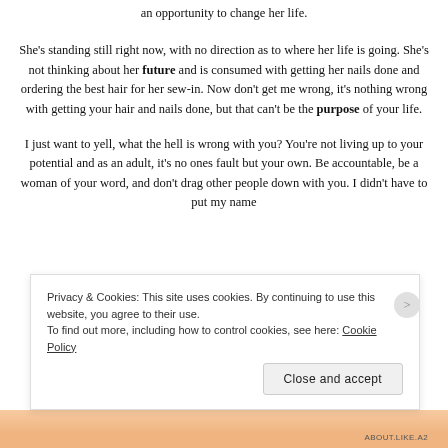an opportunity to change her life.
She's standing still right now, with no direction as to where her life is going. She's not thinking about her future and is consumed with getting her nails done and ordering the best hair for her sew-in. Now don't get me wrong, it's nothing wrong with getting your hair and nails done, but that can't be the purpose of your life.
I just want to yell, what the hell is wrong with you? You're not living up to your potential and as an adult, it's no ones fault but your own. Be accountable, be a woman of your word, and don't drag other people down with you. I didn't have to put my name
Privacy & Cookies: This site uses cookies. By continuing to use this website, you agree to their use.
To find out more, including how to control cookies, see here: Cookie Policy
Close and accept